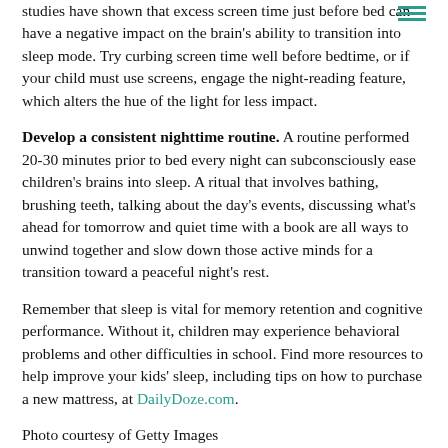studies have shown that excess screen time just before bed can have a negative impact on the brain's ability to transition into sleep mode. Try curbing screen time well before bedtime, or if your child must use screens, engage the night-reading feature, which alters the hue of the light for less impact.
Develop a consistent nighttime routine. A routine performed 20-30 minutes prior to bed every night can subconsciously ease children's brains into sleep. A ritual that involves bathing, brushing teeth, talking about the day's events, discussing what's ahead for tomorrow and quiet time with a book are all ways to unwind together and slow down those active minds for a transition toward a peaceful night's rest.
Remember that sleep is vital for memory retention and cognitive performance. Without it, children may experience behavioral problems and other difficulties in school. Find more resources to help improve your kids' sleep, including tips on how to purchase a new mattress, at DailyDoze.com.
Photo courtesy of Getty Images